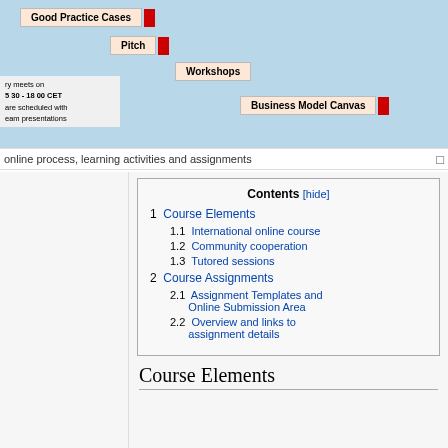[Figure (infographic): A horizontal bar/timeline chart on a light blue background showing course elements: Good Practice Cases, Pitch, Workshops, Business Model Canvas, each with a colored label and red progress bar. A white box on the left shows schedule info: 'ry meets on 5 30 - 18 00 CET are scheduled with eam presentations'.]
online process, learning activities and assignments
1  Course Elements
1.1  International online course
1.2  Community cooperation
1.3  Tutored sessions
2  Course Assignments
2.1  Assignment Templates and Online Submission Area
2.2  Overview and links to assignment details
Course Elements